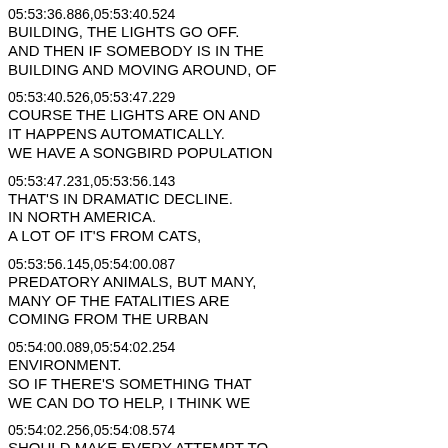05:53:36.886,05:53:40.524
BUILDING, THE LIGHTS GO OFF.
AND THEN IF SOMEBODY IS IN THE
BUILDING AND MOVING AROUND, OF
05:53:40.526,05:53:47.229
COURSE THE LIGHTS ARE ON AND
IT HAPPENS AUTOMATICALLY.
WE HAVE A SONGBIRD POPULATION
05:53:47.231,05:53:56.143
THAT'S IN DRAMATIC DECLINE.
IN NORTH AMERICA.
A LOT OF IT'S FROM CATS,
05:53:56.145,05:54:00.087
PREDATORY ANIMALS, BUT MANY,
MANY OF THE FATALITIES ARE
COMING FROM THE URBAN
05:54:00.089,05:54:02.254
ENVIRONMENT.
SO IF THERE'S SOMETHING THAT
WE CAN DO TO HELP, I THINK WE
05:54:02.256,05:54:08.574
SHOULD MAKE EVERY ATTEMPT TO
HELP.